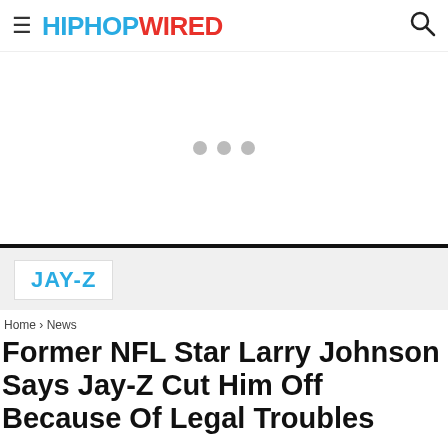HIPHOPWIRED
[Figure (other): Advertisement loading area with three grey dots indicating loading]
JAY-Z
Home › News
Former NFL Star Larry Johnson Says Jay-Z Cut Him Off Because Of Legal Troubles